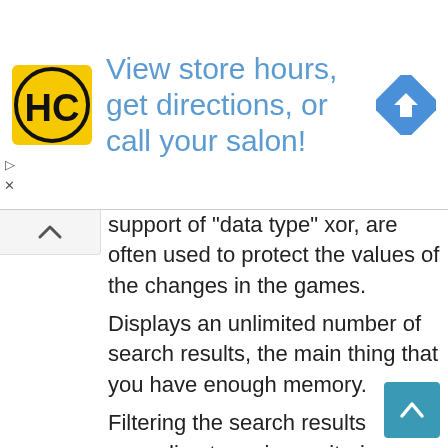[Figure (other): Advertisement banner with HC logo (yellow square with black HC letters), text 'View store hours, get directions, or call your salon!' in blue, and a blue diamond-shaped navigation arrow icon on the right.]
support of "data type" xor, are often used to protect the values of the changes in the games.
Displays an unlimited number of search results, the main thing that you have enough memory.
Filtering the search results according to various criteria.
Autofill on values change.
The ability to enter data in hexadecimal.
The rollback feature values change if you do not need.
Extended for search...